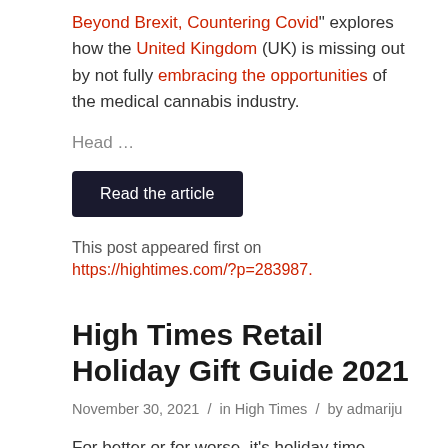Beyond Brexit, Countering Covid" explores how the United Kingdom (UK) is missing out by not fully embracing the opportunities of the medical cannabis industry.
Head …
Read the article
This post appeared first on https://hightimes.com/?p=283987.
High Times Retail Holiday Gift Guide 2021
November 30, 2021 / in High Times / by admariju
For better or for worse, it's holiday time again, but